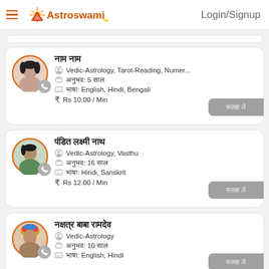Astroswami - Login/Signup
Card 1: नाम (Hindi name) - Vedic-Astrology, Tarot-Reading, Numer... | अनुभव: 5 साल | भाषा: English, Hindi, Bengali | Rs 10.00 / Min
Card 2: (Hindi name) - Vedic-Astrology, Vasthu | अनुभव: 16 साल | भाषा: Hindi, Sanskrit | Rs 12.00 / Min
Card 3: (Hindi name) - Vedic-Astrology | अनुभव: 10 साल | भाषा: English, Hindi